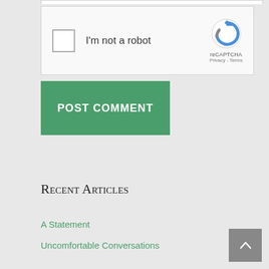[Figure (screenshot): reCAPTCHA widget with checkbox labeled 'I'm not a robot' and reCAPTCHA logo with Privacy and Terms links]
[Figure (screenshot): Green 'POST COMMENT' button]
Recent Articles
A Statement
Uncomfortable Conversations
[Figure (screenshot): Gray scroll-to-top arrow button in bottom right corner]